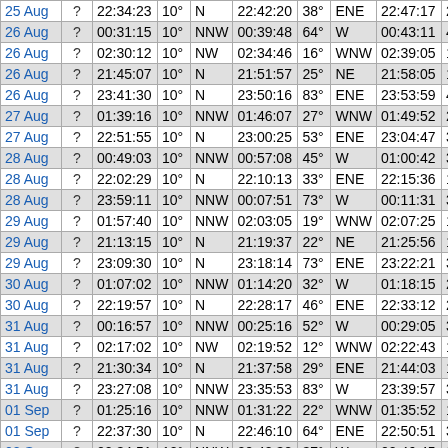| Date | ? | Time | ° | Dir | Time | ° | Dir | Time | ° |  |
| --- | --- | --- | --- | --- | --- | --- | --- | --- | --- | --- |
| 25 Aug | ? | 22:34:23 | 10° | N | 22:42:20 | 38° | ENE | 22:47:17 | 22 |  |
| 26 Aug | ? | 00:31:15 | 10° | NNW | 00:39:48 | 64° | W | 00:43:11 | 40° |  |
| 26 Aug | ? | 02:30:12 | 10° | NW | 02:34:46 | 16° | WNW | 02:39:05 | 10° |  |
| 26 Aug | ? | 21:45:07 | 10° | N | 21:51:57 | 25° | NE | 21:58:05 | 12° |  |
| 26 Aug | ? | 23:41:30 | 10° | N | 23:50:16 | 83° | ENE | 23:53:59 | 40° |  |
| 27 Aug | ? | 01:39:16 | 10° | NNW | 01:46:07 | 27° | WNW | 01:49:52 | 20° |  |
| 27 Aug | ? | 22:51:55 | 10° | N | 23:00:25 | 53° | ENE | 23:04:47 | 30° |  |
| 28 Aug | ? | 00:49:03 | 10° | NNW | 00:57:08 | 45° | W | 01:00:42 | 31° |  |
| 28 Aug | ? | 22:02:29 | 10° | N | 22:10:13 | 33° | ENE | 22:15:36 | 18° |  |
| 28 Aug | ? | 23:59:11 | 10° | NNW | 00:07:51 | 73° | W | 00:11:31 | 39° |  |
| 29 Aug | ? | 01:57:40 | 10° | NNW | 02:03:05 | 19° | WNW | 02:07:25 | 13° |  |
| 29 Aug | ? | 21:13:15 | 10° | N | 21:19:37 | 22° | NE | 21:25:56 | 10° |  |
| 29 Aug | ? | 23:09:30 | 10° | N | 23:18:14 | 73° | ENE | 23:22:21 | 36° |  |
| 30 Aug | ? | 01:07:02 | 10° | NNW | 01:14:20 | 32° | W | 01:18:15 | 22° |  |
| 30 Aug | ? | 22:19:57 | 10° | N | 22:28:17 | 46° | ENE | 22:33:12 | 25° |  |
| 31 Aug | ? | 00:16:57 | 10° | NNW | 00:25:16 | 52° | W | 00:29:05 | 33° |  |
| 31 Aug | ? | 02:17:02 | 10° | NW | 02:19:52 | 12° | WNW | 02:22:43 | 10° |  |
| 31 Aug | ? | 21:30:34 | 10° | N | 21:37:58 | 29° | ENE | 21:44:03 | 14° |  |
| 31 Aug | ? | 23:27:08 | 10° | NNW | 23:35:53 | 83° | W | 23:39:57 | 37° |  |
| 01 Sep | ? | 01:25:16 | 10° | NNW | 01:31:22 | 22° | WNW | 01:35:52 | 15° |  |
| 01 Sep | ? | 22:37:30 | 10° | N | 22:46:10 | 64° | ENE | 22:50:51 | 30° |  |
| 02 Sep | ? | 00:34:51 | 10° | NNW | 00:42:32 | 37° | W | 00:46:45 | 24° |  |
| 02 Sep | ? | 21:48:00 | 10° | N | 21:56:06 | 40° | ENE | 22:01:44 | 20° |  |